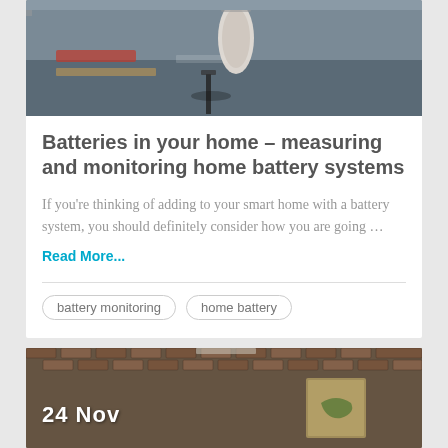[Figure (photo): Top image of a desk scene with a Stormtrooper figurine and books, dark toned.]
Batteries in your home – measuring and monitoring home battery systems
If you're thinking of adding to your smart home with a battery system, you should definitely consider how you are going …
Read More...
battery monitoring
home battery
[Figure (photo): Bottom image showing a room with brick walls, a map poster, and the date overlay '24 Nov'.]